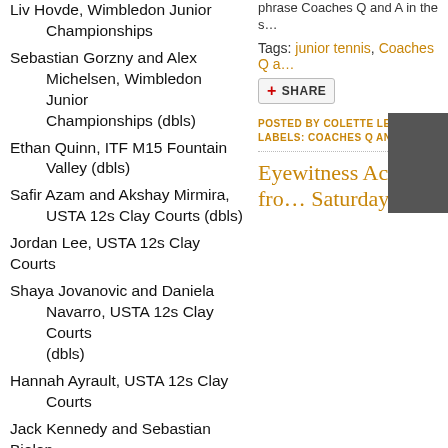Liv Hovde, Wimbledon Junior Championships
Sebastian Gorzny and Alex Michelsen, Wimbledon Junior Championships (dbls)
Ethan Quinn, ITF M15 Fountain Valley (dbls)
Safir Azam and Akshay Mirmira, USTA 12s Clay Courts (dbls)
Jordan Lee, USTA 12s Clay Courts
Shaya Jovanovic and Daniela Navarro, USTA 12s Clay Courts (dbls)
Hannah Ayrault, USTA 12s Clay Courts
Jack Kennedy and Sebastian Bielen, USTA 14s Clay Courts (dbls)
Jack Kennedy, USTA 14s Clay Courts
Sara Shumate and Bella Payne, USTA 14s Clay Courts (dbls)
phrase Coaches Q and A in the s…
Tags: junior tennis, Coaches Q a…
POSTED BY COLETTE LEWIS A…
LABELS: COACHES Q AND A, J…
Eyewitness Account fro… Saturday